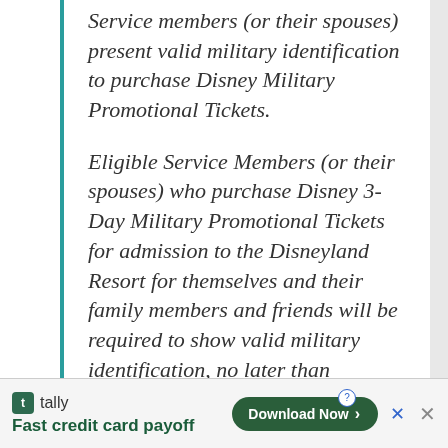Service members (or their spouses) present valid military identification to purchase Disney Military Promotional Tickets.
Eligible Service Members (or their spouses) who purchase Disney 3-Day Military Promotional Tickets for admission to the Disneyland Resort for themselves and their family members and friends will be required to show valid military identification, no later than September 30, 2012, in order for those Tickets to be used.
[Figure (other): Advertisement banner for Tally app: 'Fast credit card payoff' with a Download Now button]